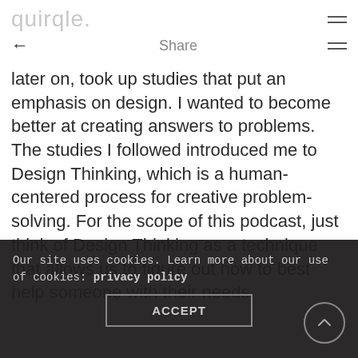quirqle.
← Share ≡
later on, took up studies that put an emphasis on design. I wanted to become better at creating answers to problems. The studies I followed introduced me to Design Thinking, which is a human-centered process for creative problem-solving. For the scope of this podcast, just think of Design Thinking as a technique that allows us to figure out how to best help someone with their needs.
Our site uses cookies. Learn more about our use of cookies: privacy policy
ACCEPT